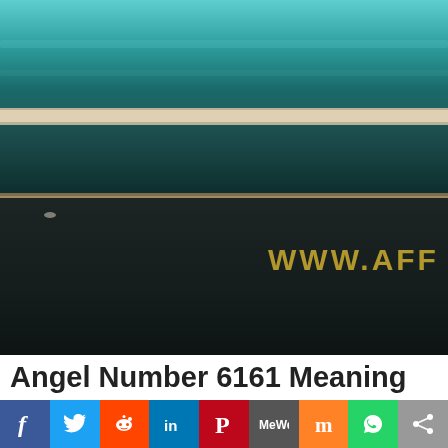[Figure (photo): Aerial view of a beach with teal/dark ocean water, white foam wave line, and dark sandy beach. Watermark text 'WWW.AFF' visible in gold/yellow on the dark beach area.]
Angel Number 6161 Meaning
[Figure (infographic): Social media sharing bar with icons for Facebook, Twitter, Reddit, LinkedIn, Pinterest, MeWe, Mix, WhatsApp, and a share button]